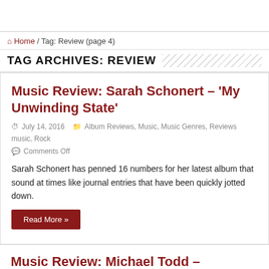🏠 Home / Tag: Review (page 4)
TAG ARCHIVES: REVIEW
Music Review: Sarah Schonert – 'My Unwinding State'
July 14, 2016  Album Reviews, Music, Music Genres, Reviews music, Rock  Comments Off
Sarah Schonert has penned 16 numbers for her latest album that sound at times like journal entries that have been quickly jotted down.
Read More »
Music Review: Michael Todd – 'Crashland'
July 10, 2016